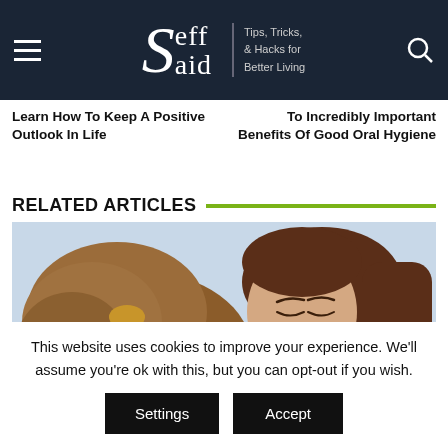Seff Said | Tips, Tricks, & Hacks for Better Living
Learn How To Keep A Positive Outlook In Life
To Incredibly Important Benefits Of Good Oral Hygiene
RELATED ARTICLES
[Figure (photo): A young woman with brown hair leaning close to a fluffy brown dog against a light sky background]
This website uses cookies to improve your experience. We'll assume you're ok with this, but you can opt-out if you wish.